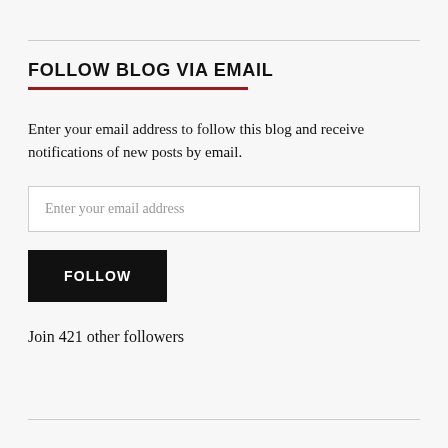FOLLOW BLOG VIA EMAIL
Enter your email address to follow this blog and receive notifications of new posts by email.
Join 421 other followers